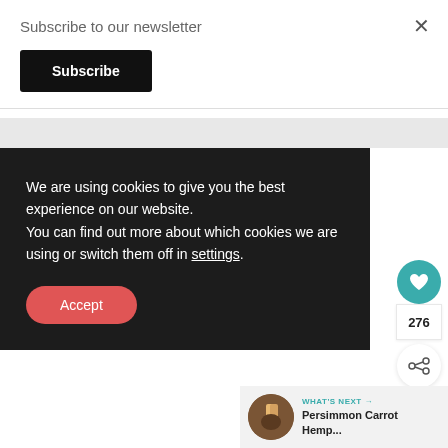Subscribe to our newsletter
Subscribe
We are using cookies to give you the best experience on our website. You can find out more about which cookies we are using or switch them off in settings.
Accept
276
WHAT'S NEXT → Persimmon Carrot Hemp...